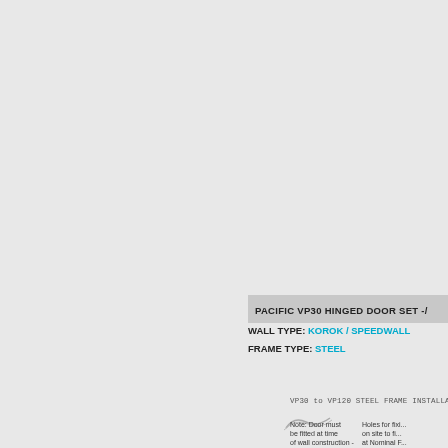PACIFIC VP30 HINGED DOOR SET -/...
WALL TYPE: KOROK / SPEEDWALL
FRAME TYPE: STEEL
VP30 to VP120 STEEL FRAME INSTALLA...
Note: Door must be fitted at time of wall construction - Holes for fixing on site to fix at Nominal F...